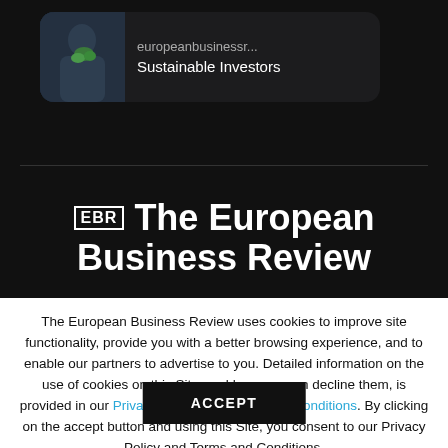[Figure (screenshot): Mobile notification card on dark background showing europeanbusinessr... and Sustainable Investors text with a thumbnail image of a person holding green plants]
The European Business Review
The European Business Review uses cookies to improve site functionality, provide you with a better browsing experience, and to enable our partners to advertise to you. Detailed information on the use of cookies on this Site, and how you can decline them, is provided in our Privacy Policy and Terms and Conditions. By clicking on the accept button and using this Site, you consent to our Privacy Policy and Terms and Conditions.
ACCEPT